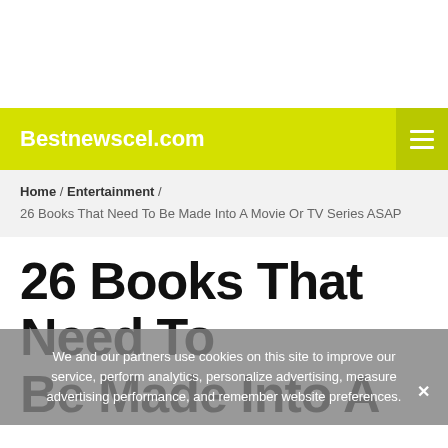Bestnewscel.com
Home / Entertainment / 26 Books That Need To Be Made Into A Movie Or TV Series ASAP
26 Books That Need To Be Made Into A Movie Or TV Series ASAP
We and our partners use cookies on this site to improve our service, perform analytics, personalize advertising, measure advertising performance, and remember website preferences.